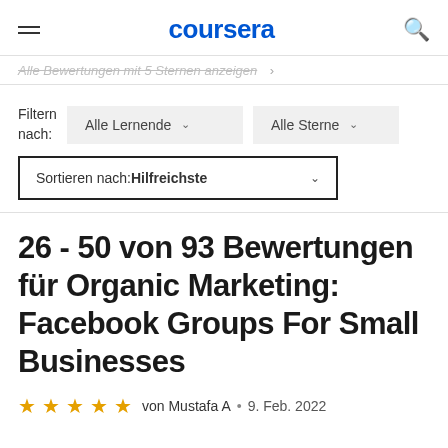coursera
Alle Bewertungen mit 5 Sternen anzeigen
Filtern nach: Alle Lernende  Alle Sterne
Sortieren nach: Hilfreichste
26 - 50 von 93 Bewertungen für Organic Marketing: Facebook Groups For Small Businesses
von Mustafa A • 9. Feb. 2022